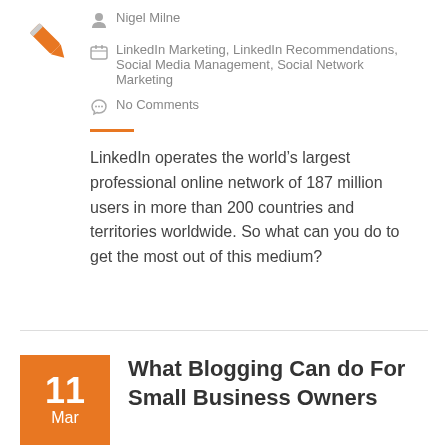Nigel Milne
LinkedIn Marketing, LinkedIn Recommendations, Social Media Management, Social Network Marketing
No Comments
LinkedIn operates the world’s largest professional online network of 187 million users in more than 200 countries and territories worldwide. So what can you do to get the most out of this medium?
What Blogging Can do For Small Business Owners